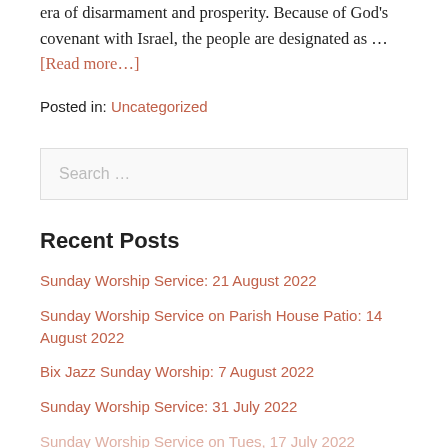era of disarmament and prosperity. Because of God's covenant with Israel, the people are designated as … [Read more…]
Posted in: Uncategorized
Recent Posts
Sunday Worship Service: 21 August 2022
Sunday Worship Service on Parish House Patio: 14 August 2022
Bix Jazz Sunday Worship: 7 August 2022
Sunday Worship Service: 31 July 2022
Sunday Worship Service on Tuesday, 17 July 2022